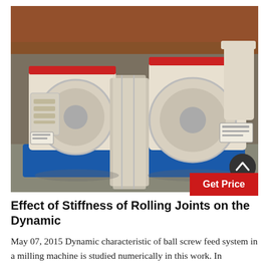[Figure (photo): Industrial milling machines with white bodies and blue bases, two large grinding/milling units side by side on a factory floor, with red accents on top.]
Effect of Stiffness of Rolling Joints on the Dynamic
May 07, 2015 Dynamic characteristic of ball screw feed system in a milling machine is studied numerically in this work. In